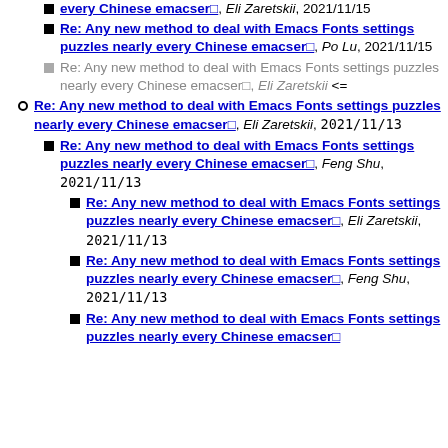Re: Any new method to deal with Emacs Fonts settings puzzles nearly every Chinese emacser□, Eli Zaretskii, 2021/11/15
Re: Any new method to deal with Emacs Fonts settings puzzles nearly every Chinese emacser□, Po Lu, 2021/11/15
Re: Any new method to deal with Emacs Fonts settings puzzles nearly every Chinese emacser□, Eli Zaretskii <=
Re: Any new method to deal with Emacs Fonts settings puzzles nearly every Chinese emacser□, Eli Zaretskii, 2021/11/13
Re: Any new method to deal with Emacs Fonts settings puzzles nearly every Chinese emacser□, Feng Shu, 2021/11/13
Re: Any new method to deal with Emacs Fonts settings puzzles nearly every Chinese emacser□, Eli Zaretskii, 2021/11/13
Re: Any new method to deal with Emacs Fonts settings puzzles nearly every Chinese emacser□, Feng Shu, 2021/11/13
Re: Any new method to deal with Emacs Fonts settings puzzles nearly every Chinese emacser□